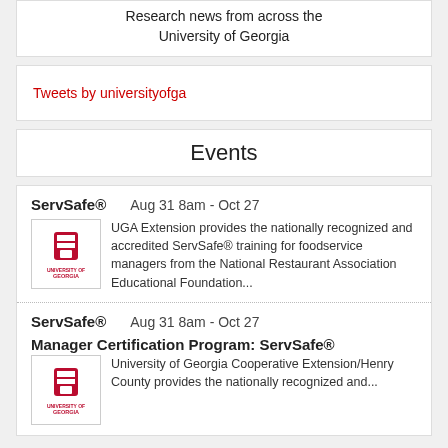Research news from across the University of Georgia
Tweets by universityofga
Events
ServSafe®  Aug 31 8am - Oct 27
UGA Extension provides the nationally recognized and accredited ServSafe® training for foodservice managers from the National Restaurant Association Educational Foundation...
ServSafe®  Aug 31 8am - Oct 27
Manager Certification Program: ServSafe®
University of Georgia Cooperative Extension/Henry County provides the nationally recognized and...